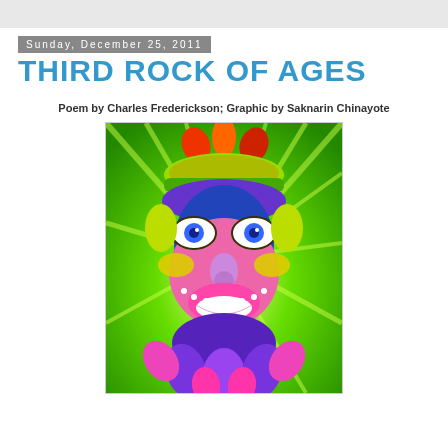Sunday, December 25, 2011
THIRD ROCK OF AGES
Poem by Charles Frederickson; Graphic by Saknarin Chinayote
[Figure (illustration): Colorful psychedelic illustration of a decorative mask/face with vivid green, purple, pink, blue, red and yellow colors on a green radiant background with light rays]